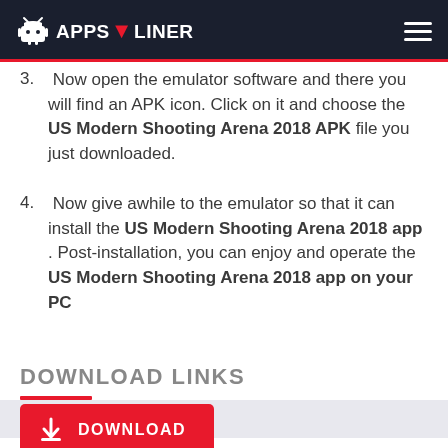APPS LINER
3. Now open the emulator software and there you will find an APK icon. Click on it and choose the US Modern Shooting Arena 2018 APK file you just downloaded.
4. Now give awhile to the emulator so that it can install the US Modern Shooting Arena 2018 app . Post-installation, you can enjoy and operate the US Modern Shooting Arena 2018 app on your PC
DOWNLOAD LINKS
DOWNLOAD